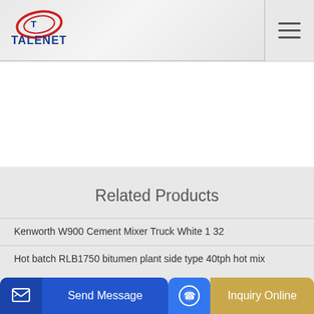TALENET
Related Products
Kenworth W900 Cement Mixer Truck White 1 32
Hot batch RLB1750 bitumen plant side type 40tph hot mix
ruck G
Send Message | Inquiry Online